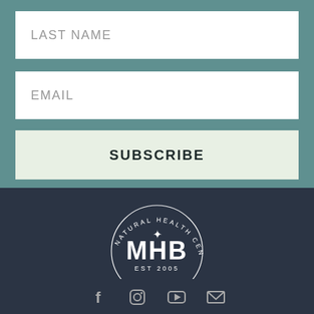LAST NAME
EMAIL
SUBSCRIBE
[Figure (logo): MHB Natural Health Center circular logo with star, EST 2005, white on dark navy background]
[Figure (other): Social media icons: Facebook, Instagram, YouTube, Email]